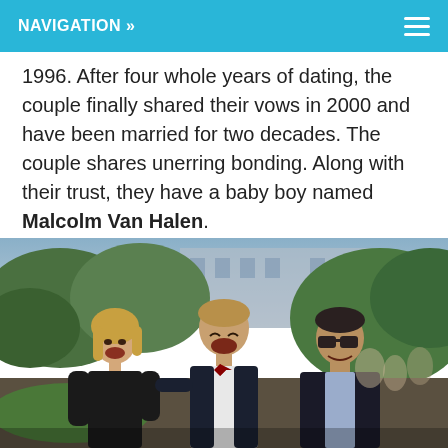NAVIGATION »
1996. After four whole years of dating, the couple finally shared their vows in 2000 and have been married for two decades. The couple shares unerring bonding. Along with their trust, they have a baby boy named Malcolm Van Halen.
[Figure (photo): A family of three laughing together outdoors at what appears to be a formal event. A woman with blonde hair on the left in a black outfit, a young man in the center wearing a white shirt with a bow tie, and an older man with sunglasses on the right in a dark jacket. They are smiling and laughing joyfully with greenery and buildings in the background.]